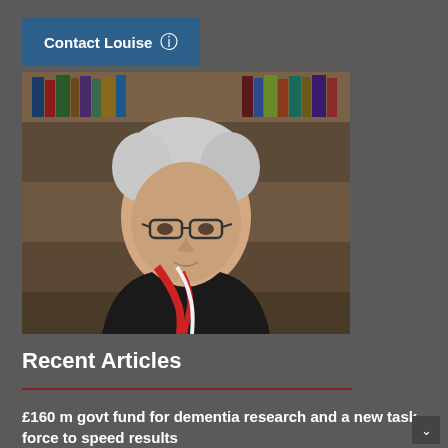Contact Louise →
[Figure (photo): Portrait photo of an older woman with short white hair wearing glasses, a black jacket, and a red and white scarf, seated in front of a bookshelf filled with books and DVDs.]
Recent Articles
£160 m govt fund for dementia research and a new task force to speed results